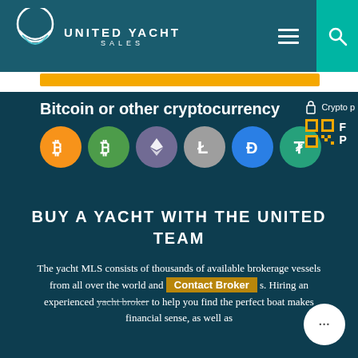[Figure (logo): United Yacht Sales logo with crescent/wave icon and text]
Bitcoin or other cryptocurrency
[Figure (illustration): Cryptocurrency icons: Bitcoin (orange), Bitcoin Cash (green), Ethereum (dark purple), Litecoin (gray), Dash (blue), Tether (green)]
[Figure (other): Crypto payment lock icon and QR code partial]
BUY A YACHT WITH THE UNITED TEAM
The yacht MLS consists of thousands of available brokerage vessels from all over the world and s. Hiring an experienced yacht broker to help you find the perfect boat makes financial sense, as well as